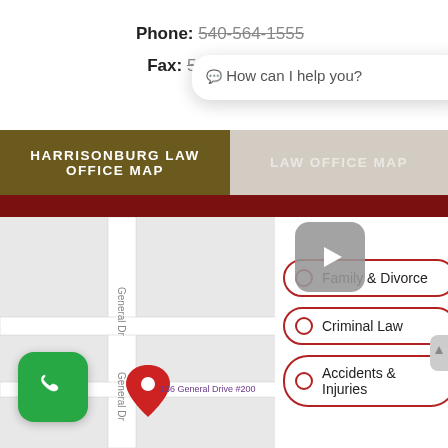Phone: 540-564-1555
Fax: 540-434-7882
💬 How can I help you?
HARRISONBURG LAW OFFICE MAP
[Figure (map): Google Maps showing 136 General Drive, Harrisonburg with a red location pin]
Family & Divorce
Criminal Law
Accidents & Injuries